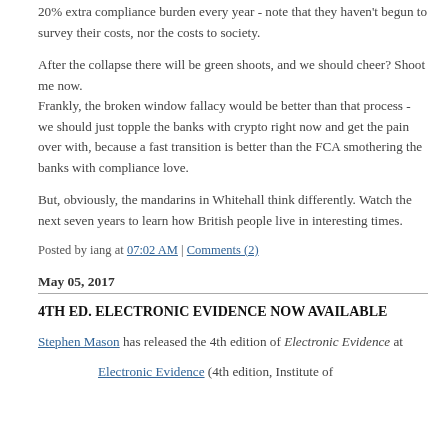regulators are hell bent on destroying the British economy by adding 20% extra compliance burden every year - note that they haven't begun to survey their costs, nor the costs to society.
After the collapse there will be green shoots, and we should cheer? Shoot me now.
Frankly, the broken window fallacy would be better than that process - we should just topple the banks with crypto right now and get the pain over with, because a fast transition is better than the FCA smothering the banks with compliance love.
But, obviously, the mandarins in Whitehall think differently. Watch the next seven years to learn how British people live in interesting times.
Posted by iang at 07:02 AM | Comments (2)
May 05, 2017
4TH ED. ELECTRONIC EVIDENCE NOW AVAILABLE
Stephen Mason has released the 4th edition of Electronic Evidence at
Electronic Evidence (4th edition, Institute of